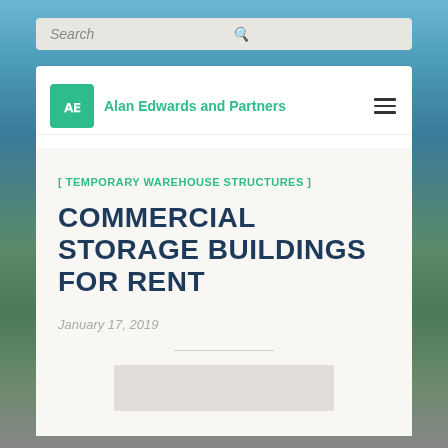[Figure (screenshot): Background photo of a road through forested landscape with sky]
Search
Alan Edwards and Partners
[ TEMPORARY WAREHOUSE STRUCTURES ]
COMMERCIAL STORAGE BUILDINGS FOR RENT
January 17, 2019